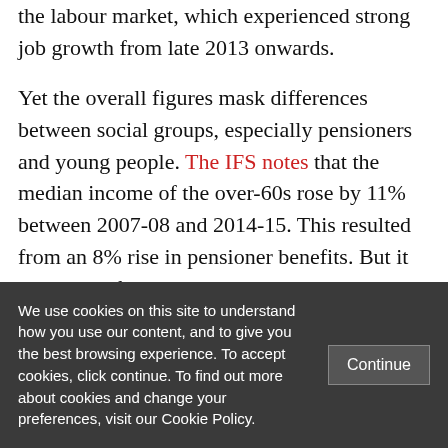the labour market, which experienced strong job growth from late 2013 onwards.
Yet the overall figures mask differences between social groups, especially pensioners and young people. The IFS notes that the median income of the over-60s rose by 11% between 2007-08 and 2014-15. This resulted from an 8% rise in pensioner benefits. But it also stems from real growth in private
We use cookies on this site to understand how you use our content, and to give you the best browsing experience. To accept cookies, click continue. To find out more about cookies and change your preferences, visit our Cookie Policy.